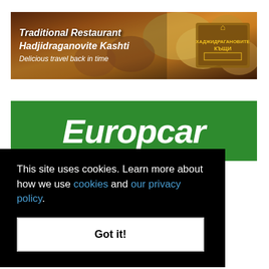[Figure (illustration): Advertisement banner for Traditional Restaurant Hadjidraganovite Kashti with food imagery background and restaurant logo. Text reads: 'Traditional Restaurant Hadjidraganovite Kashti Delicious travel back in time']
[Figure (logo): Europcar car rental advertisement - green background with white bold italic 'Europcar' text]
This site uses cookies. Learn more about how we use cookies and our privacy policy.
Got it!
VAGABOND FEATURES